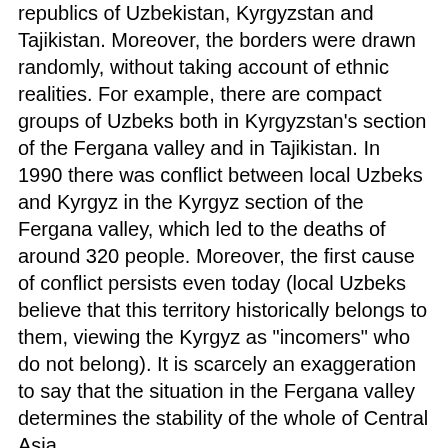republics of Uzbekistan, Kyrgyzstan and Tajikistan. Moreover, the borders were drawn randomly, without taking account of ethnic realities. For example, there are compact groups of Uzbeks both in Kyrgyzstan's section of the Fergana valley and in Tajikistan. In 1990 there was conflict between local Uzbeks and Kyrgyz in the Kyrgyz section of the Fergana valley, which led to the deaths of around 320 people. Moreover, the first cause of conflict persists even today (local Uzbeks believe that this territory historically belongs to them, viewing the Kyrgyz as "incomers" who do not belong). It is scarcely an exaggeration to say that the situation in the Fergana valley determines the stability of the whole of Central Asia.
It remains unclear how far popular opposition to the war will turn into practical action. Orozov told Forum 18 that it was possible that many residents of southern Kyrgyzstan would go to fight against the Americans and rumours are already circulating about volunteers travelling to Iraq. He reported that when in 1999 and 2000 IMU fighters crossed southern Kyrgyzstan on their way to Uzbekistan, several local residents welcomed